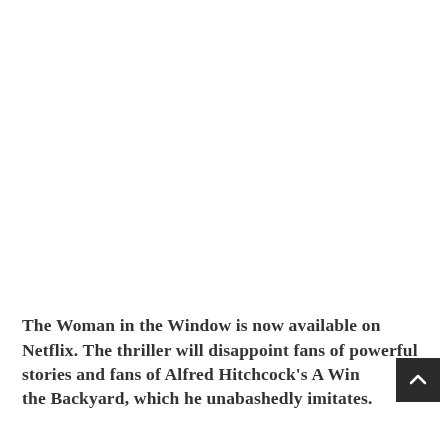The Woman in the Window is now available on Netflix. The thriller will disappoint fans of powerful stories and fans of Alfred Hitchcock's A Window to the Backyard, which he unabashedly imitates.